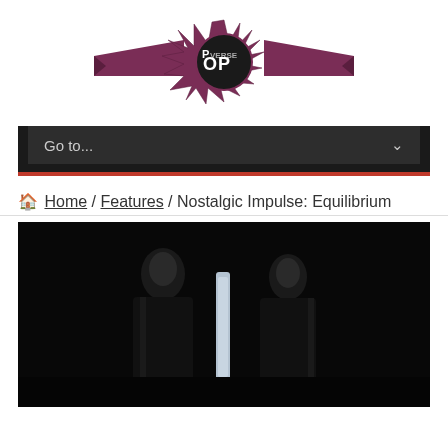[Figure (logo): PopVerse logo with star burst and decorative ribbon banner in dark purple/maroon color]
Go to...
Home / Features / Nostalgic Impulse: Equilibrium
[Figure (photo): Two figures in dark clothing standing against a black background, likely from the movie Equilibrium]